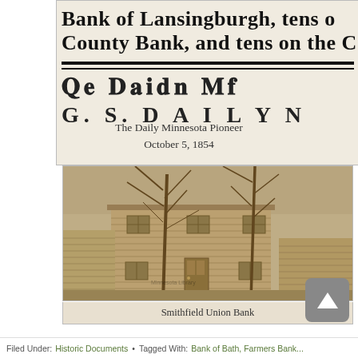[Figure (photo): Cropped newspaper clipping showing bold serif text: 'Bank of Lansingburgh, tens o...' and 'County Bank, and tens on the C...' with a decorative rule and partial masthead below]
The Daily Minnesota Pioneer
October 5, 1854
[Figure (photo): Sepia-toned historical photograph of the Smithfield Union Bank building, a two-story wood-frame structure with bare trees in front]
Smithfield Union Bank
Filed Under: Historic Documents • Tagged With: Bank of Bath, Farmers Bank...